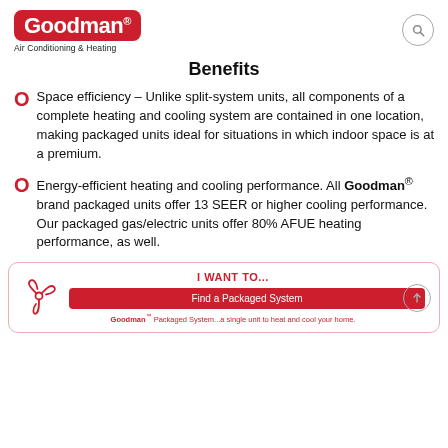[Figure (logo): Goodman Air Conditioning & Heating logo with red rounded rectangle background]
Benefits
Space efficiency – Unlike split-system units, all components of a complete heating and cooling system are contained in one location, making packaged units ideal for situations in which indoor space is at a premium.
Energy-efficient heating and cooling performance. All Goodman® brand packaged units offer 13 SEER or higher cooling performance. Our packaged gas/electric units offer 80% AFUE heating performance, as well.
I WANT TO... Find a Packaged System Goodman™ Packaged System...a single unit to heat and cool your home.